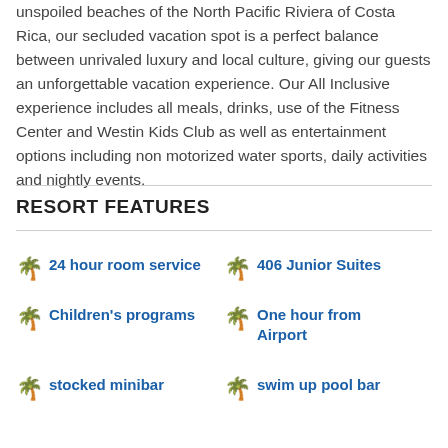unspoiled beaches of the North Pacific Riviera of Costa Rica, our secluded vacation spot is a perfect balance between unrivaled luxury and local culture, giving our guests an unforgettable vacation experience. Our All Inclusive experience includes all meals, drinks, use of the Fitness Center and Westin Kids Club as well as entertainment options including non motorized water sports, daily activities and nightly events.
RESORT FEATURES
24 hour room service
406 Junior Suites
Children's programs
One hour from Airport
stocked minibar
swim up pool bar